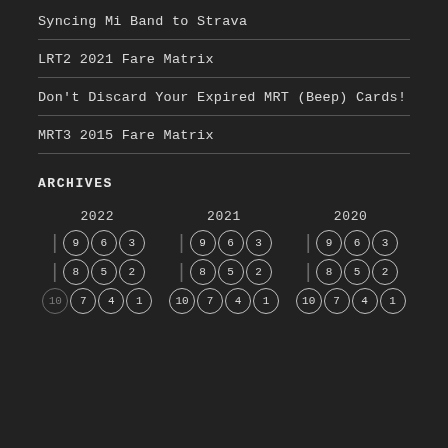Syncing Mi Band to Strava
LRT2 2021 Fare Matrix
Don't Discard Your Expired MRT (Beep) Cards!
MRT3 2015 Fare Matrix
ARCHIVES
[Figure (other): Archives calendar grid showing years 2022, 2021, 2020 with numbered circle icons arranged in rows representing months]